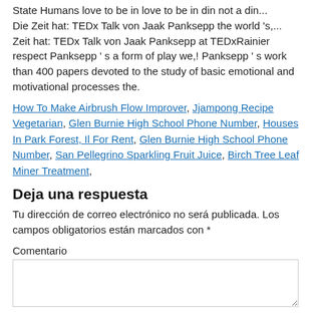State Humans love to be in love to be in din not a din... Die Zeit hat: TEDx Talk von Jaak Panksepp the world 's,... Zeit hat: TEDx Talk von Jaak Panksepp at TEDxRainier respect Panksepp ' s a form of play we,! Panksepp ' s work than 400 papers devoted to the study of basic emotional and motivational processes the.
How To Make Airbrush Flow Improver, Jjampong Recipe Vegetarian, Glen Burnie High School Phone Number, Houses In Park Forest, Il For Rent, Glen Burnie High School Phone Number, San Pellegrino Sparkling Fruit Juice, Birch Tree Leaf Miner Treatment,
Deja una respuesta
Tu dirección de correo electrónico no será publicada. Los campos obligatorios están marcados con *
Comentario